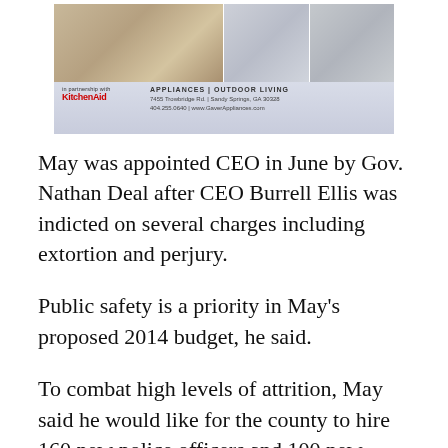[Figure (other): Advertisement banner for a KitchenAid appliance store showing kitchen/home photos, logo text reading 'in partnership with KitchenAid', 'APPLIANCES | OUTDOOR LIVING', address '7455 Trowbridge Rd. | Sandy Springs, GA 30328', and '404.255.0640 | www.GaverAppliances.com']
May was appointed CEO in June by Gov. Nathan Deal after CEO Burrell Ellis was indicted on several charges including extortion and perjury.
Public safety is a priority in May's proposed 2014 budget, he said.
To combat high levels of attrition, May said he would like for the county to hire 160 new police officers and 100 new firefighters every year for the next three years.  In December, public